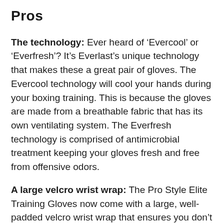Pros
The technology: Ever heard of ‘Evercool’ or ‘Everfresh’? It’s Everlast’s unique technology that makes these a great pair of gloves. The Evercool technology will cool your hands during your boxing training. This is because the gloves are made from a breathable fabric that has its own ventilating system. The Everfresh technology is comprised of antimicrobial treatment keeping your gloves fresh and free from offensive odors.
A large velcro wrist wrap: The Pro Style Elite Training Gloves now come with a large, well-padded velcro wrist wrap that ensures you don’t miss out on the full wrist coverage that helps you to adjust, put on, and take off.